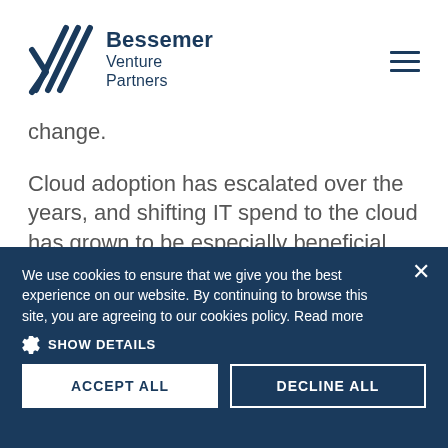[Figure (logo): Bessemer Venture Partners logo with diagonal slash mark and hamburger menu icon on right]
change.
Cloud adoption has escalated over the years, and shifting IT spend to the cloud has grown to be especially beneficial during
We use cookies to ensure that we give you the best experience on our website. By continuing to browse this site, you are agreeing to our cookies policy. Read more
SHOW DETAILS
ACCEPT ALL
DECLINE ALL